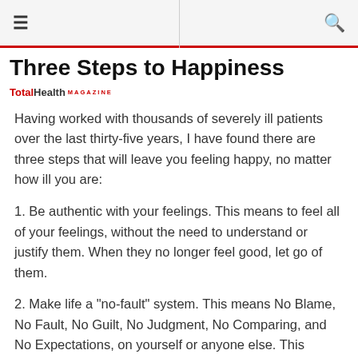≡  [search icon]
Three Steps to Happiness
TotalHealth MAGAZINE
Having worked with thousands of severely ill patients over the last thirty-five years, I have found there are three steps that will leave you feeling happy, no matter how ill you are:
1. Be authentic with your feelings. This means to feel all of your feelings, without the need to understand or justify them. When they no longer feel good, let go of them.
2. Make life a "no-fault" system. This means No Blame, No Fault, No Guilt, No Judgment, No Comparing, and No Expectations, on yourself or anyone else. This means you'll be changing habits of thinking. For example, if you find yourself judging somebody, simply drop the judgment in mid thought when you notice it. And no judging yourself for judging others.
3. Learn to keep your attention on what feels good. We